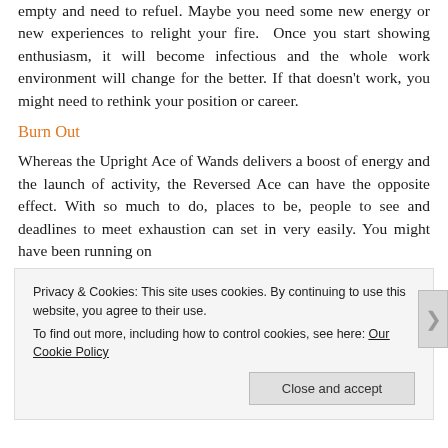empty and need to refuel. Maybe you need some new energy or new experiences to relight your fire. Once you start showing enthusiasm, it will become infectious and the whole work environment will change for the better. If that doesn't work, you might need to rethink your position or career.
Burn Out
Whereas the Upright Ace of Wands delivers a boost of energy and the launch of activity, the Reversed Ace can have the opposite effect. With so much to do, places to be, people to see and deadlines to meet exhaustion can set in very easily. You might have been running on
Privacy & Cookies: This site uses cookies. By continuing to use this website, you agree to their use.
To find out more, including how to control cookies, see here: Our Cookie Policy